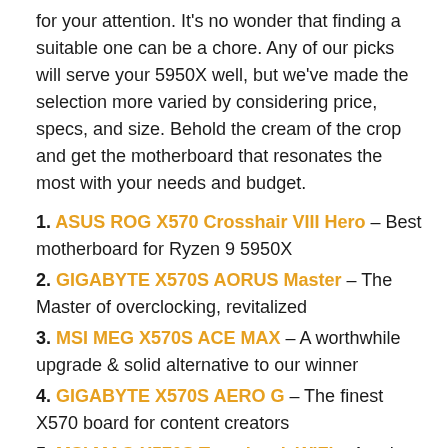for your attention. It's no wonder that finding a suitable one can be a chore. Any of our picks will serve your 5950X well, but we've made the selection more varied by considering price, specs, and size. Behold the cream of the crop and get the motherboard that resonates the most with your needs and budget.
1. ASUS ROG X570 Crosshair VIII Hero – Best motherboard for Ryzen 9 5950X
2. GIGABYTE X570S AORUS Master – The Master of overclocking, revitalized
3. MSI MEG X570S ACE MAX – A worthwhile upgrade & solid alternative to our winner
4. GIGABYTE X570S AERO G – The finest X570 board for content creators
5. MSI MAG X570S Tomahawk WiFi – Another favorite, another upgrade
6. GIGABYTE X570 I AORUS Pro Wi-Fi – The